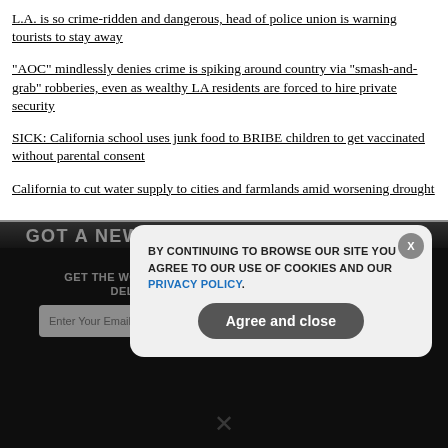L.A. is so crime-ridden and dangerous, head of police union is warning tourists to stay away
"AOC" mindlessly denies crime is spiking around country via "smash-and-grab" robberies, even as wealthy LA residents are forced to hire private security
SICK: California school uses junk food to BRIBE children to get vaccinated without parental consent
California to cut water supply to cities and farmlands amid worsening drought
GET THE WORLD'S BEST NATURAL HEALTH NEWSLETTER DELIVERED STRAIGHT TO YOUR INBOX
Enter Your Email Address
SUBSCRIBE
BY CONTINUING TO BROWSE OUR SITE YOU AGREE TO OUR USE OF COOKIES AND OUR PRIVACY POLICY.
Agree and close